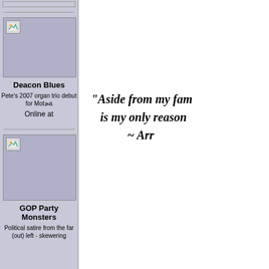[Figure (illustration): Top bar placeholder image in left sidebar]
[Figure (illustration): Book cover image for Deacon Blues with broken image icon]
Deacon Blues
Pete's 2007 organ trio debut for Motia
Online at
[Figure (illustration): Book cover image for GOP Party Monsters with broken image icon]
GOP Party Monsters
Political satire from the far (out) left - skewering